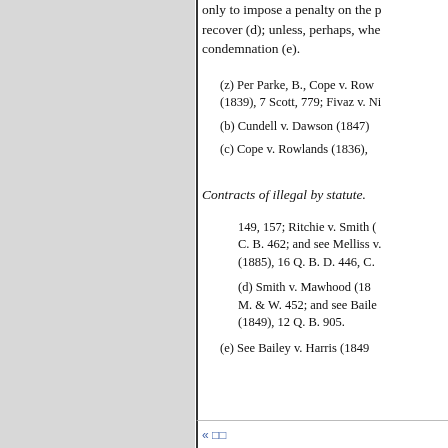only to impose a penalty on the p recover (d); unless, perhaps, whe condemnation (e).
(z) Per Parke, B., Cope v. Row (1839), 7 Scott, 779; Fivaz v. Ni
(b) Cundell v. Dawson (1847)
(c) Cope v. Rowlands (1836),
Contracts of illegal by statute.
149, 157; Ritchie v. Smith ( C. B. 462; and see Melliss v. (1885), 16 Q. B. D. 446, C.
(d) Smith v. Mawhood (18 M. & W. 452; and see Baile (1849), 12 Q. B. 905.
(e) See Bailey v. Harris (1849
« □□